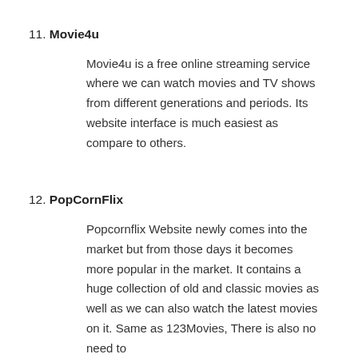11. Movie4u
Movie4u is a free online streaming service where we can watch movies and TV shows from different generations and periods. Its website interface is much easiest as compare to others.
12. PopCornFlix
Popcornflix Website newly comes into the market but from those days it becomes more popular in the market. It contains a huge collection of old and classic movies as well as we can also watch the latest movies on it. Same as 123Movies, There is also no need to